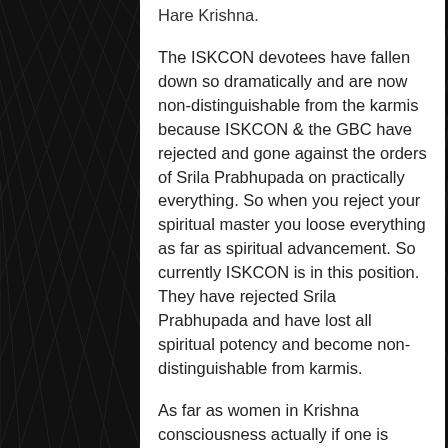Hare Krishna.
The ISKCON devotees have fallen down so dramatically and are now non-distinguishable from the karmis because ISKCON & the GBC have rejected and gone against the orders of Srila Prabhupada on practically everything. So when you reject your spiritual master you loose everything as far as spiritual advancement. So currently ISKCON is in this position. They have rejected Srila Prabhupada and have lost all spiritual potency and become non-distinguishable from karmis.
As far as women in Krishna consciousness actually if one is really Krishna conscious he will know that he is not this material